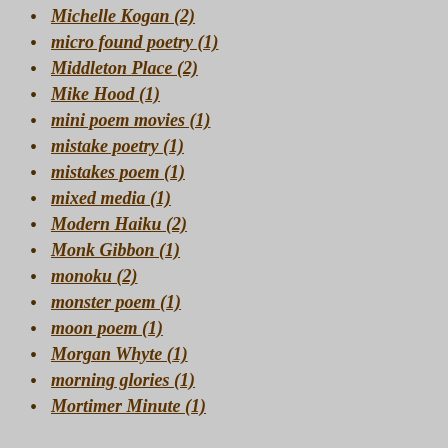Michelle Kogan (2)
micro found poetry (1)
Middleton Place (2)
Mike Hood (1)
mini poem movies (1)
mistake poetry (1)
mistakes poem (1)
mixed media (1)
Modern Haiku (2)
Monk Gibbon (1)
monoku (2)
monster poem (1)
moon poem (1)
Morgan Whyte (1)
morning glories (1)
Mortimer Minute (1)